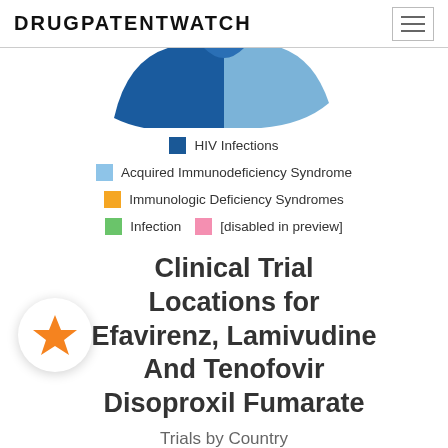DRUGPATENTWATCH
[Figure (pie-chart): Partial pie chart visible at top showing medical condition categories: HIV Infections (dark blue), Acquired Immunodeficiency Syndrome (light blue), Immunologic Deficiency Syndromes (orange), Infection (green), [disabled in preview] (pink)]
Clinical Trial Locations for Efavirenz, Lamivudine And Tenofovir Disoproxil Fumarate
Trials by Country
MAP